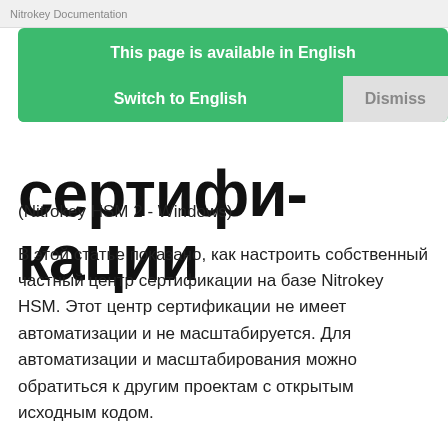Nitrokey Documentation
[Figure (screenshot): Browser language banner overlay with green background. Top section: 'This page is available in English'. Bottom section has two buttons: 'Switch to English' (green) and 'Dismiss' (gray).]
сертификации
(Nitrokey HSM 2 - Windows)
В этой статье показано, как настроить собственный частный центр сертификации на базе Nitrokey HSM. Этот центр сертификации не имеет автоматизации и не масштабируется. Для автоматизации и масштабирования можно обратиться к другим проектам с открытым исходным кодом.